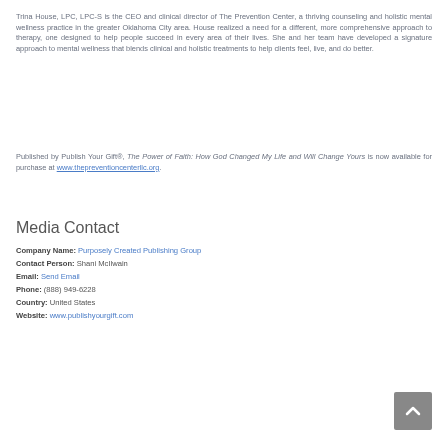Trina House, LPC, LPC-S is the CEO and clinical director of The Prevention Center, a thriving counseling and holistic mental wellness practice in the greater Oklahoma City area. House realized a need for a different, more comprehensive approach to therapy, one designed to help people succeed in every area of their lives. She and her team have developed a signature approach to mental wellness that blends clinical and holistic treatments to help clients feel, live, and do better.
Published by Publish Your Gift®, The Power of Faith: How God Changed My Life and Will Change Yours is now available for purchase at www.thepreventioncenterllc.org.
Media Contact
Company Name: Purposely Created Publishing Group
Contact Person: Shani McIlwain
Email: Send Email
Phone: (888) 949-6228
Country: United States
Website: www.publishyourgift.com